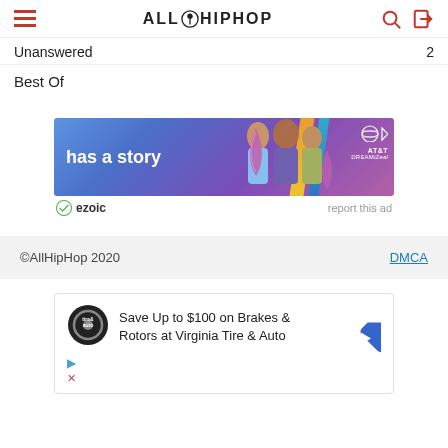AllHipHop
Unanswered
Best Of
[Figure (screenshot): AT&T DREAMiZeal advertisement banner showing 'has a story' text with three women and purple/blue gradient background]
ezoic  report this ad
©AllHipHop 2020  DMCA
[Figure (screenshot): Virginia Tire & Auto advertisement: Save Up to $100 on Brakes & Rotors at Virginia Tire & Auto]